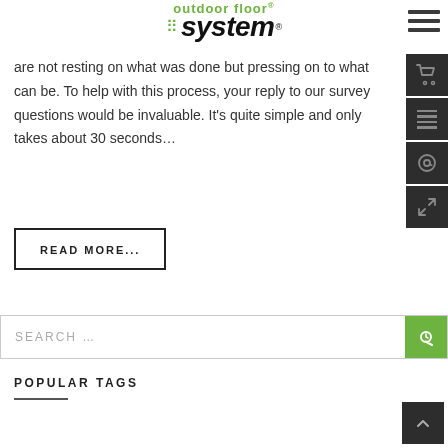outdoor floor system (logo)
are not resting on what was done but pressing on to what can be. To help with this process, your reply to our survey questions would be invaluable. It's quite simple and only takes about 30 seconds...
READ MORE...
SEARCH ...
POPULAR TAGS